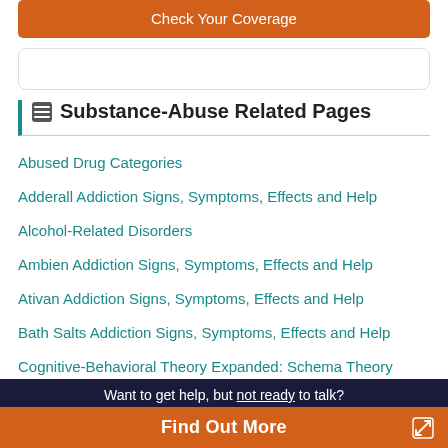Check Your Coverage
Substance-Abuse Related Pages
Abused Drug Categories
Adderall Addiction Signs, Symptoms, Effects and Help
Alcohol-Related Disorders
Ambien Addiction Signs, Symptoms, Effects and Help
Ativan Addiction Signs, Symptoms, Effects and Help
Bath Salts Addiction Signs, Symptoms, Effects and Help
Cognitive-Behavioral Theory Expanded: Schema Theory
Crack Addiction Signs, Symptoms, Effects and Help
Want to get help, but not ready to talk?
Find Out More